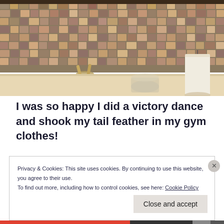[Figure (photo): Bathroom sink with mosaic tile backsplash in earthy tones of brown, tan, and rust. Faucet visible in center. On the right side of the sink counter: a glass jar and a large white pillar candle. Bottom portion shows the white sink rim.]
I was so happy I did a victory dance and shook my tail feather in my gym clothes!
Privacy & Cookies: This site uses cookies. By continuing to use this website, you agree to their use.
To find out more, including how to control cookies, see here: Cookie Policy
Close and accept